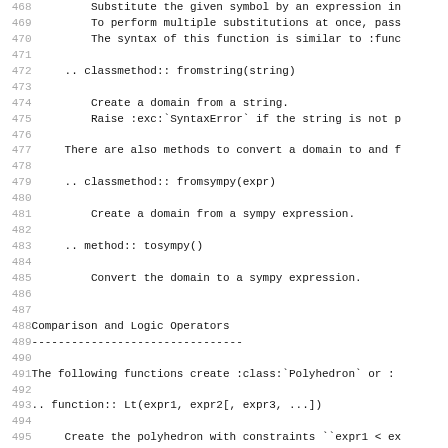Code listing lines 468–499 showing Python/Sphinx RST documentation source for domain methods and Comparison and Logic Operators section
468: Substitute the given symbol by an expression in
469: To perform multiple substitutions at once, pass
470: The syntax of this function is similar to :func
471: (blank)
472: .. classmethod:: fromstring(string)
473: (blank)
474: Create a domain from a string.
475: Raise :exc:`SyntaxError` if the string is not p
476: (blank)
477: There are also methods to convert a domain to and f
478: (blank)
479: .. classmethod:: fromsympy(expr)
480: (blank)
481: Create a domain from a sympy expression.
482: (blank)
483: .. method:: tosympy()
484: (blank)
485: Convert the domain to a sympy expression.
486: (blank)
487: (blank)
488: Comparison and Logic Operators
489: --------------------------------
490: (blank)
491: The following functions create :class:`Polyhedron` or :
492: (blank)
493: .. function:: Lt(expr1, expr2[, expr3, ...])
494: (blank)
495: Create the polyhedron with constraints ``expr1 < ex
496: (blank)
497: .. function:: Le(expr1, expr2[, expr3, ...])
498: (blank)
499: Create the polyhedron with constraints ``expr1 <=